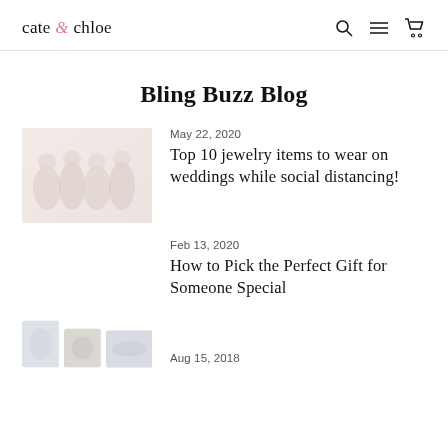cate & chloe
Bling Buzz Blog
May 22, 2020
Top 10 jewelry items to wear on weddings while social distancing!
Feb 13, 2020
How to Pick the Perfect Gift for Someone Special
Aug 15, 2018